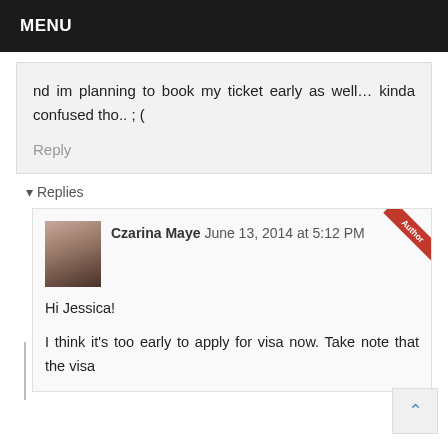MENU
nd im planning to book my ticket early as well… kinda confused tho.. ; (
Reply
Replies
Czarina Maye June 13, 2014 at 5:12 PM
Hi Jessica!
I think it's too early to apply for visa now. Take note that the visa